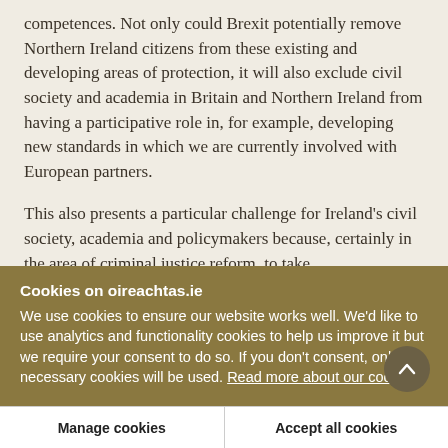competences. Not only could Brexit potentially remove Northern Ireland citizens from these existing and developing areas of protection, it will also exclude civil society and academia in Britain and Northern Ireland from having a participative role in, for example, developing new standards in which we are currently involved with European partners.
This also presents a particular challenge for Ireland's civil society, academia and policymakers because, certainly in the area of criminal justice reform, to take
Cookies on oireachtas.ie
We use cookies to ensure our website works well. We'd like to use analytics and functionality cookies to help us improve it but we require your consent to do so. If you don't consent, only necessary cookies will be used. Read more about our cookies
Manage cookies
Accept all cookies